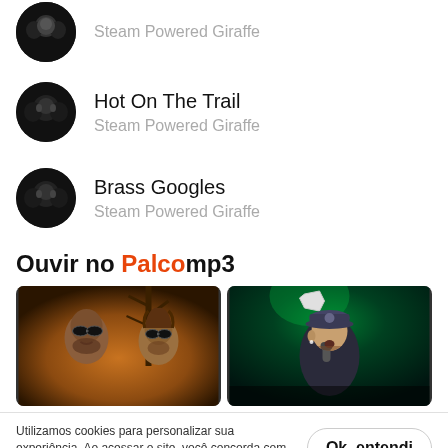Steam Powered Giraffe (truncated top)
Hot On The Trail — Steam Powered Giraffe
Brass Googles — Steam Powered Giraffe
Ouvir no PalcoMP3
[Figure (photo): Two musicians with sunglasses in warm orange tones — Tribo da Periferia]
[Figure (photo): Singer performing on stage with green light — Unha Pintada]
Utilizamos cookies para personalizar sua experiência. Ao acessar o site, você concorda com a nossa Política de Privacidade.
Ok, entendi
Tribo da Periferia
Unha Pintada